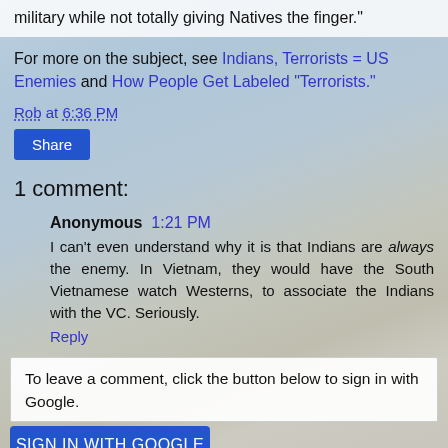Readers will understand how we're trying to kiss up to the military while not totally giving Natives the finger."
For more on the subject, see Indians, Terrorists = US Enemies and How People Get Labeled "Terrorists."
Rob at 6:36 PM
Share
1 comment:
Anonymous  1:21 PM
I can't even understand why it is that Indians are always the enemy. In Vietnam, they would have the South Vietnamese watch Westerns, to associate the Indians with the VC. Seriously.
Reply
To leave a comment, click the button below to sign in with Google.
SIGN IN WITH GOOGLE